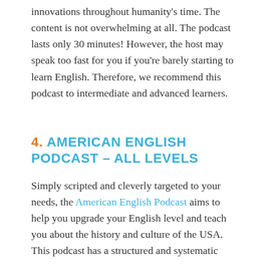anecdotes about figures of various innovations throughout humanity's time. The content is not overwhelming at all. The podcast lasts only 30 minutes! However, the host may speak too fast for you if you're barely starting to learn English. Therefore, we recommend this podcast to intermediate and advanced learners.
4. AMERICAN ENGLISH PODCAST – ALL LEVELS
Simply scripted and cleverly targeted to your needs, the American English Podcast aims to help you upgrade your English level and teach you about the history and culture of the USA. This podcast has a structured and systematic